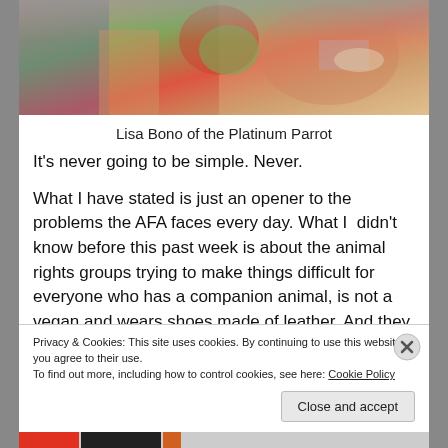[Figure (photo): Photo of a person holding a parrot with colorful plumage, wearing a floral shirt and bracelet]
Lisa Bono of the Platinum Parrot
It's never going to be simple. Never.
What I have stated is just an opener to the problems the AFA faces every day. What I  didn't know before this past week is about the animal rights groups trying to make things difficult for everyone who has a companion animal, is not a vegan and wears shoes made of leather. And they
Privacy & Cookies: This site uses cookies. By continuing to use this website, you agree to their use.
To find out more, including how to control cookies, see here: Cookie Policy
Close and accept